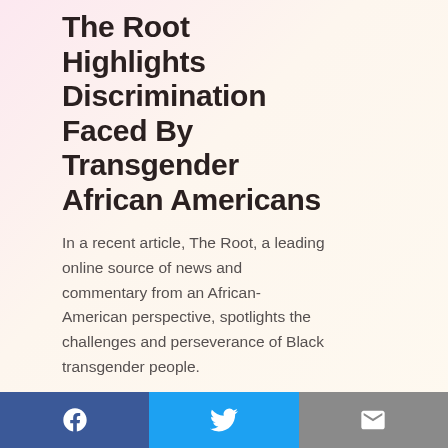The Root Highlights Discrimination Faced By Transgender African Americans
In a recent article, The Root, a leading online source of news and commentary from an African-American perspective, spotlights the challenges and perseverance of Black transgender people.
READ MORE
October 5, 2009
by Seth Adam, GLAAD's Vice President of Communications
Sharon J. Lettman Named Executive Director of the National Black Justice